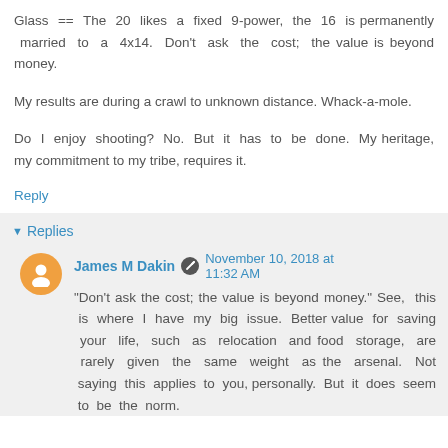Glass == The 20 likes a fixed 9-power, the 16 is permanently married to a 4x14. Don't ask the cost; the value is beyond money.
My results are during a crawl to unknown distance. Whack-a-mole.
Do I enjoy shooting? No. But it has to be done. My heritage, my commitment to my tribe, requires it.
Reply
Replies
James M Dakin  November 10, 2018 at 11:32 AM
"Don't ask the cost; the value is beyond money." See, this is where I have my big issue. Better value for saving your life, such as relocation and food storage, are rarely given the same weight as the arsenal. Not saying this applies to you, personally. But it does seem to be the norm.